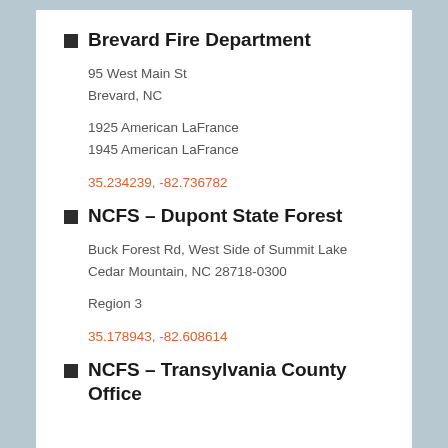Brevard Fire Department
95 West Main St
Brevard, NC
1925 American LaFrance
1945 American LaFrance
35.234239, -82.736782
NCFS – Dupont State Forest
Buck Forest Rd, West Side of Summit Lake
Cedar Mountain, NC 28718-0300
Region 3
35.178943, -82.608614
NCFS – Transylvania County Office